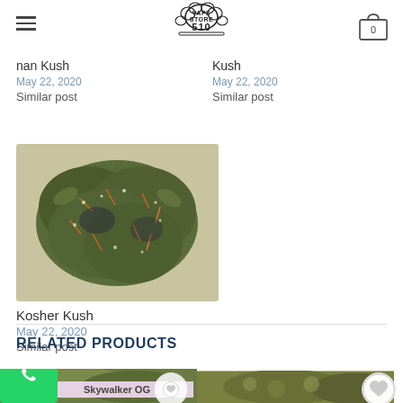Vape Store 510 - Navigation header with hamburger menu, logo, and cart (0 items)
nan Kush
May 22, 2020
Similar post
Kush
May 22, 2020
Similar post
[Figure (photo): Close-up photo of a Kosher Kush cannabis bud]
Kosher Kush
May 22, 2020
Similar post
RELATED PRODUCTS
[Figure (photo): Cannabis bud photo with Skywalker OG label and wishlist heart button]
[Figure (photo): Cannabis bud partial photo with wishlist heart button on right]